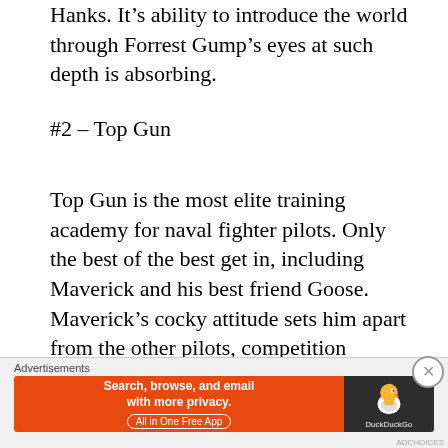Hanks. It's ability to introduce the world through Forrest Gump's eyes at such depth is absorbing.
#2 – Top Gun
Top Gun is the most elite training academy for naval fighter pilots. Only the best of the best get in, including Maverick and his best friend Goose. Maverick's cocky attitude sets him apart from the other pilots, competition heightening. During his training, he's not only fighting for the top spot at the school, but also his instructor's affections. Maverick deals with a variety of unfortunate and untimely situations, and must learn how to handle them while training.
Advertisements
[Figure (other): DuckDuckGo advertisement banner: orange left section with text 'Search, browse, and email with more privacy. All in One Free App', and dark right section with DuckDuckGo duck logo and brand name.]